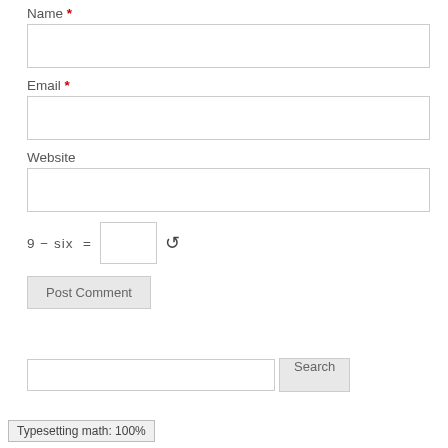Name *
[Figure (screenshot): Text input field for Name]
Email *
[Figure (screenshot): Text input field for Email]
Website
[Figure (screenshot): Text input field for Website]
9 − six =  [input box]  [refresh icon]
[Figure (screenshot): Post Comment button]
[Figure (screenshot): Search input box with Search button]
Typesetting math: 100%